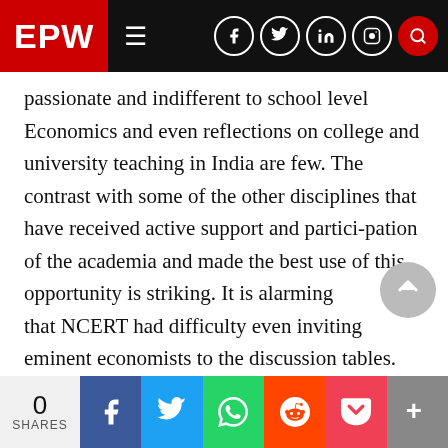EPW
passionate and indifferent to school level Economics and even reflections on college and university teaching in India are few. The contrast with some of the other disciplines that have received active support and partici-pation of the academia and made the best use of this opportunity is striking. It is alarming that NCERT had difficulty even inviting eminent economists to the discussion tables. With so much of intel-lectual capital around, one was hard pressed for people at each stage: to write, review, comment. One of the objectives of sharing our experience and insights is to get across to the
0 SHARES | Facebook | Twitter | WhatsApp | Reddit | Pocket | More